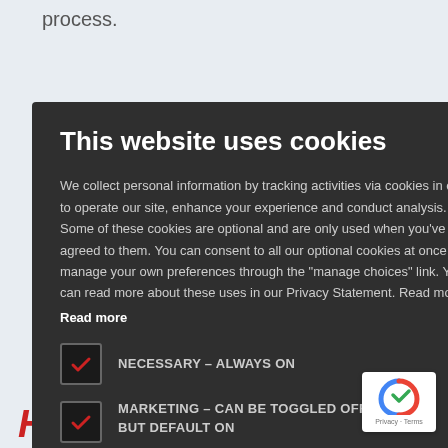process.
were
er a 2% de
e or on a
ons of
ise. This
ies with
fund the
iness stock.
[Figure (screenshot): Cookie consent modal dialog on dark background with title 'This website uses cookies', descriptive text about cookies, two checkboxes (NECESSARY – ALWAYS ON and MARKETING – CAN BE TOGGLED OFF, BUT DEFAULT ON), and an ACCEPT ALL button]
How Should Tax-Exempt